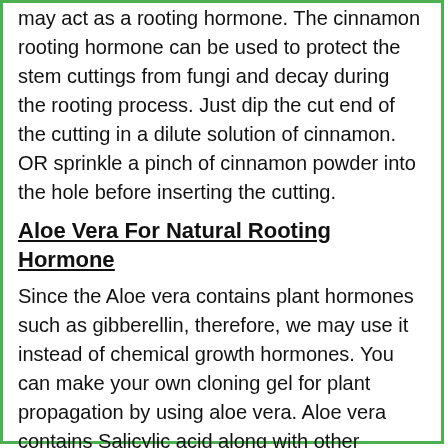may act as a rooting hormone. The cinnamon rooting hormone can be used to protect the stem cuttings from fungi and decay during the rooting process. Just dip the cut end of the cutting in a dilute solution of cinnamon. OR sprinkle a pinch of cinnamon powder into the hole before inserting the cutting.
Aloe Vera For Natural Rooting Hormone
Since the Aloe vera contains plant hormones such as gibberellin, therefore, we may use it instead of chemical growth hormones. You can make your own cloning gel for plant propagation by using aloe vera. Aloe vera contains Salicylic acid along with other beneficial compounds.